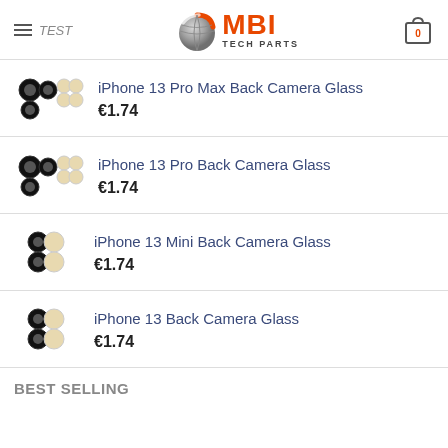MBI TECH PARTS — navigation header with logo and cart
iPhone 13 Pro Max Back Camera Glass — €1.74
iPhone 13 Pro Back Camera Glass — €1.74
iPhone 13 Mini Back Camera Glass — €1.74
iPhone 13 Back Camera Glass — €1.74
BEST SELLING